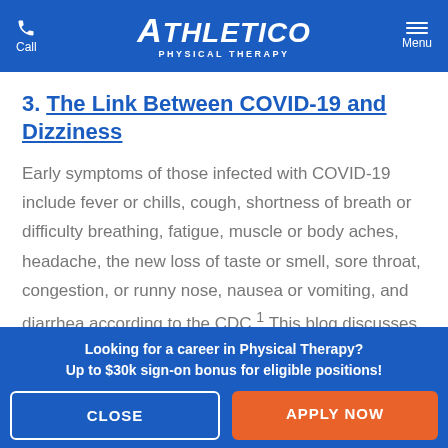Call | ATHLETICO PHYSICAL THERAPY | Menu
3. The Link Between COVID-19 and Dizziness
Early symptoms of those infected with COVID-19 include fever or chills, cough, shortness of breath or difficulty breathing, fatigue, muscle or body aches, headache, the new loss of taste or smell, sore throat, congestion, or runny nose, nausea or vomiting, and diarrhea according to the CDC.¹ This blog discusses the connection between COVID-19
Looking for a career in Physical Therapy?
Up to $30k sign-on bonus for eligible positions!
CLOSE
APPLY NOW